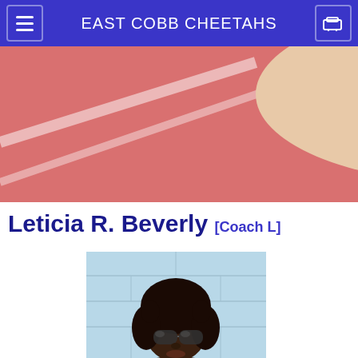EAST COBB CHEETAHS
[Figure (photo): Close-up of a hand holding a red stopwatch against a red/orange athletic track surface with white lane lines]
Leticia R. Beverly [Coach L]
[Figure (photo): Portrait photo of Leticia R. Beverly (Coach L), an African-American woman wearing sunglasses, standing in front of a light blue cinder block wall]